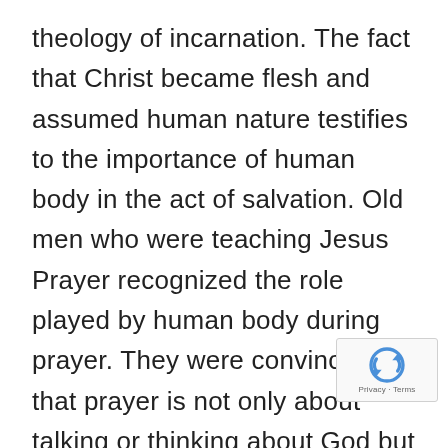theology of incarnation. The fact that Christ became flesh and assumed human nature testifies to the importance of human body in the act of salvation. Old men who were teaching Jesus Prayer recognized the role played by human body during prayer. They were convinced that prayer is not only about talking or thinking about God but primarily about being with God and that is why they encouraged others to pray with all their hearts and bodies. The teachings of Father Seraphim from Mount Athos reflect on it. This is what he said to the young philosophy student who wanted to learn Jesus prayer: “Before you start pondering about Jesus prayer